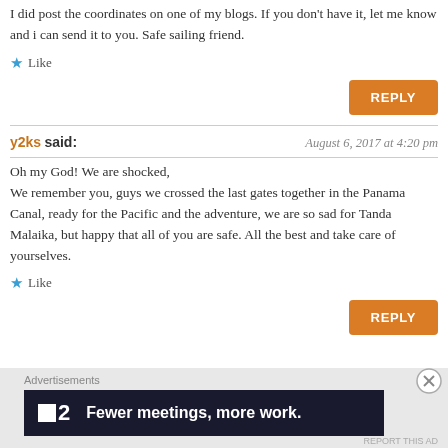I did post the coordinates on one of my blogs. If you don't have it, let me know and i can send it to you. Safe sailing friend.
★ Like
REPLY
y2ks said:  August 6, 2017 at 4:20 pm
Oh my God! We are shocked, We remember you, guys we crossed the last gates together in the Panama Canal, ready for the Pacific and the adventure, we are so sad for Tanda Malaika, but happy that all of you are safe. All the best and take care of yourselves.
★ Like
REPLY
Advertisements
[Figure (screenshot): Dark advertisement banner for a product called '2' with text 'Fewer meetings, more work.']